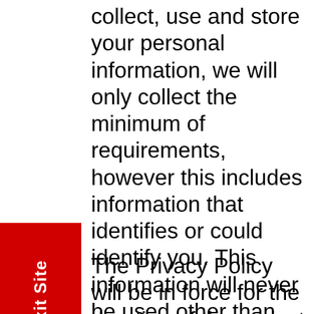collect, use and store your personal information, we will only collect the minimum of requirements, however this includes information that identifies or could identify you. This information will never be used other than  the reason for which you shared it with us. It will not be shared with any third parties, unless required by law.
Exit Site
The Privacy Policy will be in force for the duration of the project and is subject to change so please remember to check back from time to